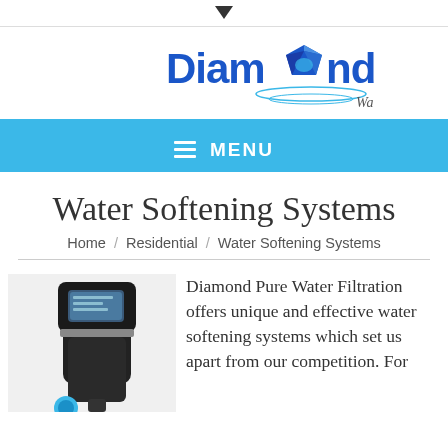[Figure (logo): Diamond Pure Water Filtration logo with blue diamond gem and blue bold text]
MENU
Water Softening Systems
Home / Residential / Water Softening Systems
[Figure (photo): Water softening system device with digital display screen]
Diamond Pure Water Filtration offers unique and effective water softening systems which set us apart from our competition. For